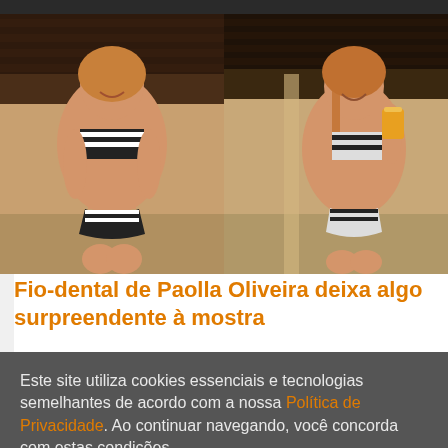[Figure (photo): Two side-by-side photos of a woman in a striped bikini. Left photo: woman sitting, smiling, wearing a black-and-white striped bandeau bikini top, indoors with wooden ceiling. Right photo: same woman smiling, holding an orange drink, wearing striped bikini bottoms.]
Fio-dental de Paolla Oliveira deixa algo surpreendente à mostra
Este site utiliza cookies essenciais e tecnologias semelhantes de acordo com a nossa Política de Privacidade. Ao continuar navegando, você concorda com estas condições.
OK